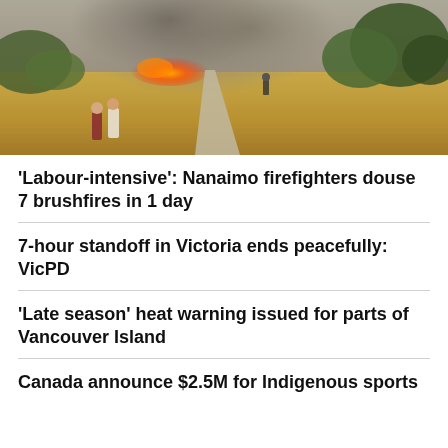[Figure (photo): Two people walking on a dirt road toward a brushfire; smoke billows in the background over dry golden hills and green trees.]
'Labour-intensive': Nanaimo firefighters douse 7 brushfires in 1 day
7-hour standoff in Victoria ends peacefully: VicPD
'Late season' heat warning issued for parts of Vancouver Island
Canada announce $2.5M for Indigenous sports